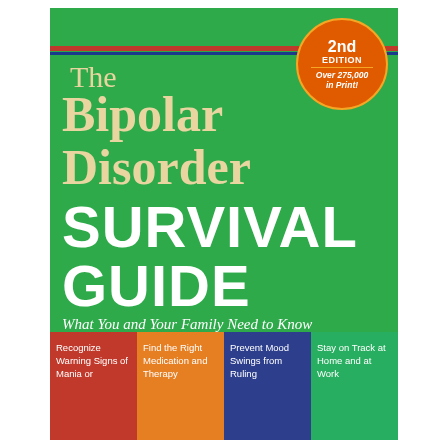[Figure (illustration): Book cover of 'The Bipolar Disorder Survival Guide, 2nd Edition' by unknown author. Green background with gold/cream title text for 'The Bipolar Disorder', white bold text for 'SURVIVAL GUIDE', italic white subtitle 'What You and Your Family Need to Know', orange circular badge reading '2nd EDITION / Over 275,000 in Print!', red and blue horizontal decorative bars near top, and four colored panels at bottom (red, orange, blue, green) with short descriptive text snippets.]